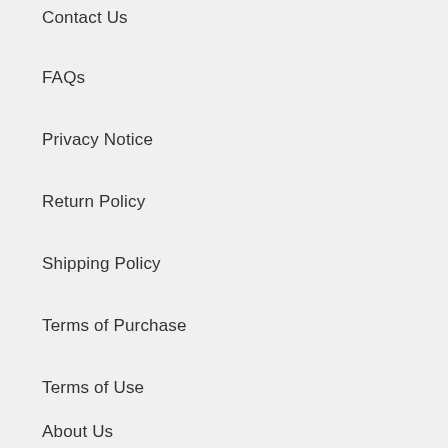Contact Us
FAQs
Privacy Notice
Return Policy
Shipping Policy
Terms of Purchase
Terms of Use
About Us